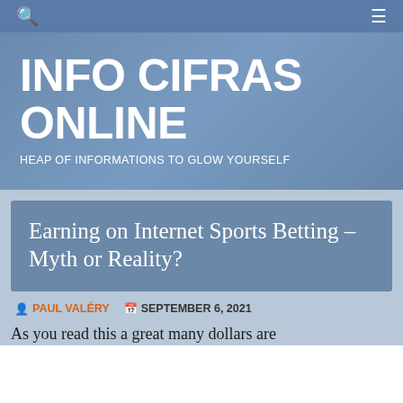INFO CIFRAS ONLINE — navigation bar with search and menu icons
INFO CIFRAS ONLINE
HEAP OF INFORMATIONS TO GLOW YOURSELF
Earning on Internet Sports Betting – Myth or Reality?
PAUL VALÉRY   SEPTEMBER 6, 2021
As you read this a great many dollars are